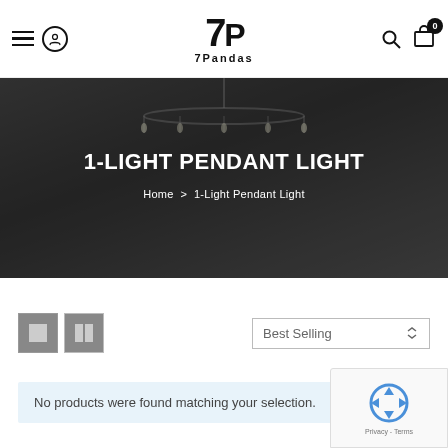[Figure (logo): 7Pandas logo with panda graphic and text '7Pandas']
[Figure (photo): Hero banner image showing a chandelier with candle-style lights in a dark room, overlaid with text '1-LIGHT PENDANT LIGHT' and breadcrumb 'Home > 1-Light Pendant Light']
1-LIGHT PENDANT LIGHT
Home > 1-Light Pendant Light
[Figure (screenshot): View toggle buttons (grid and two-column) and a Best Selling sort dropdown]
No products were found matching your selection.